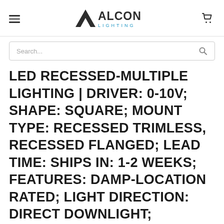Alcon Lighting - Navigation header with hamburger menu, logo, and cart icon
Search...
LED RECESSED-MULTIPLE LIGHTING | DRIVER: 0-10V; SHAPE: SQUARE; MOUNT TYPE: RECESSED TRIMLESS, RECESSED FLANGED; LEAD TIME: SHIPS IN: 1-2 WEEKS; FEATURES: DAMP-LOCATION RATED; LIGHT DIRECTION: DIRECT DOWNLIGHT;